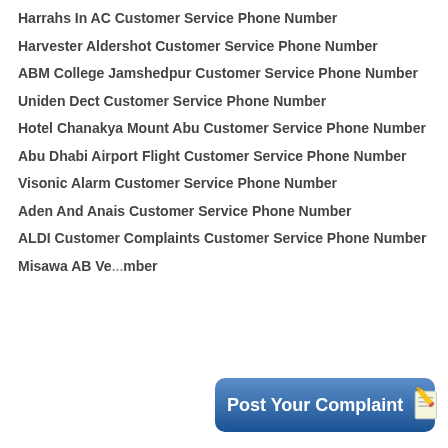Harrahs In AC Customer Service Phone Number
Harvester Aldershot Customer Service Phone Number
ABM College Jamshedpur Customer Service Phone Number
Uniden Dect Customer Service Phone Number
Hotel Chanakya Mount Abu Customer Service Phone Number
Abu Dhabi Airport Flight Customer Service Phone Number
Visonic Alarm Customer Service Phone Number
Aden And Anais Customer Service Phone Number
ALDI Customer Complaints Customer Service Phone Number
Misawa AB Ve... Customer Service Phone Number
[Figure (infographic): Blue rounded rectangle button with text 'Post Your Complaint' and a notepad-pencil icon]